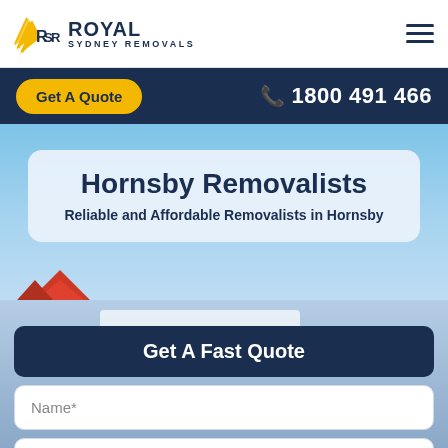[Figure (logo): Royal Sydney Removals logo with stylized RSR letters in gold/black and company name]
Get A Quote
1800 491 466
Hornsby Removalists
Reliable and Affordable Removalists in Hornsby
Get A Fast Quote
Name*
Email*
Phone*